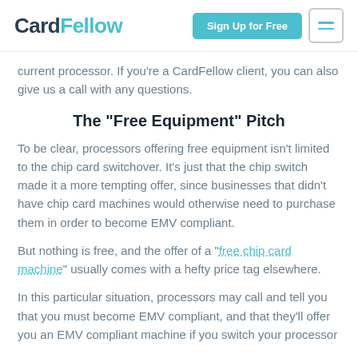CardFellow | Sign Up for Free
current processor. If you're a CardFellow client, you can also give us a call with any questions.
The “Free Equipment” Pitch
To be clear, processors offering free equipment isn’t limited to the chip card switchover. It’s just that the chip switch made it a more tempting offer, since businesses that didn’t have chip card machines would otherwise need to purchase them in order to become EMV compliant.
But nothing is free, and the offer of a “free chip card machine” usually comes with a hefty price tag elsewhere.
In this particular situation, processors may call and tell you that you must become EMV compliant, and that they’ll offer you an EMV compliant machine if you switch your processor